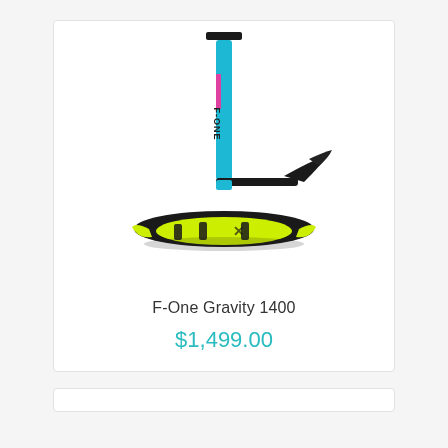[Figure (photo): F-One Gravity 1400 hydrofoil product photo showing a blue mast with black and yellow-green front wing and small black rear stabilizer wing, displayed against a white background inside a card.]
F-One Gravity 1400
$1,499.00